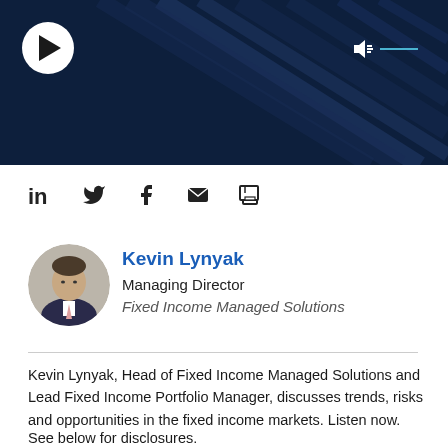[Figure (screenshot): Dark navy video player banner with diagonal line texture, white circular play button on left, speaker/volume icon with blue horizontal line on right]
[Figure (infographic): Social sharing icons row: LinkedIn, Twitter, Facebook, Email/envelope, Print]
[Figure (photo): Circular portrait photo of Kevin Lynyak in a suit]
Kevin Lynyak
Managing Director
Fixed Income Managed Solutions
Kevin Lynyak, Head of Fixed Income Managed Solutions and Lead Fixed Income Portfolio Manager, discusses trends, risks and opportunities in the fixed income markets. Listen now.
See below for disclosures.